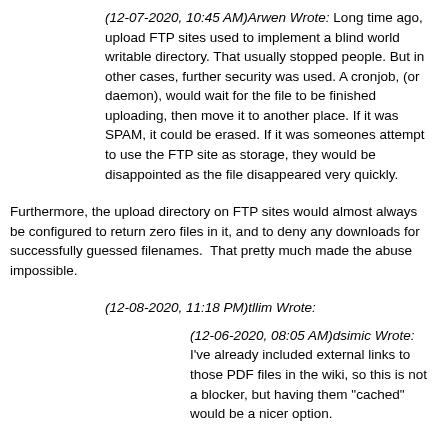(12-07-2020, 10:45 AM)Arwen Wrote: Long time ago, upload FTP sites used to implement a blind world writable directory. That usually stopped people. But in other cases, further security was used. A cronjob, (or daemon), would wait for the file to be finished uploading, then move it to another place. If it was SPAM, it could be erased. If it was someones attempt to use the FTP site as storage, they would be disappointed as the file disappeared very quickly.
Furthermore, the upload directory on FTP sites would almost always be configured to return zero files in it, and to deny any downloads for successfully guessed filenames.  That pretty much made the abuse impossible.
(12-08-2020, 11:18 PM)tllim Wrote:
(12-06-2020, 08:05 AM)dsimic Wrote: I've already included external links to those PDF files in the wiki, so this is not a blocker, but having them "cached" would be a nicer option.
I suppose that using files.pine64.org, which I see used a lot, is out of question?
You can email the PDF files to info@pine64.org and info